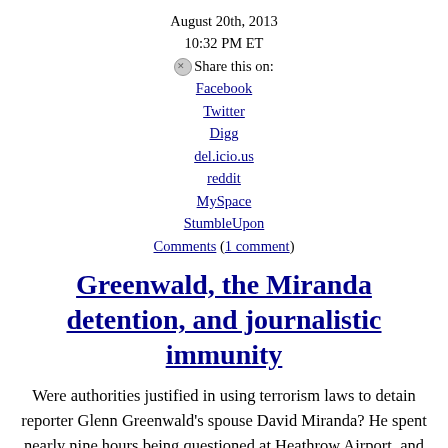August 20th, 2013
10:32 PM ET
Share this on:
Facebook
Twitter
Digg
del.icio.us
reddit
MySpace
StumbleUpon
Comments (1 comment)
Greenwald, the Miranda detention, and journalistic immunity
Were authorities justified in using terrorism laws to detain reporter Glenn Greenwald's spouse David Miranda? He spent nearly nine hours being questioned at Heathrow Airport, and says he was told he had to answer or go to jail. He also says none of those questions were about terrorism. Were authorities justified in doing that? Anderson asked CNN Senior Legal Analyst Jeffrey Toobin, and the Government Accountability Project's Jesselyn Radack.